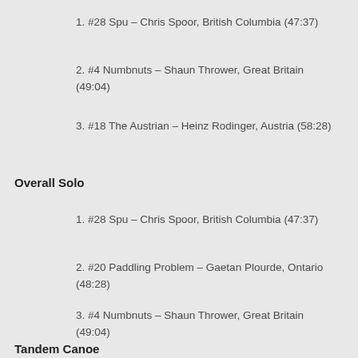1. #28 Spu – Chris Spoor, British Columbia (47:37)
2. #4 Numbnuts – Shaun Thrower, Great Britain (49:04)
3. #18 The Austrian – Heinz Rodinger, Austria (58:28)
Overall Solo
1. #28 Spu – Chris Spoor, British Columbia (47:37)
2. #20 Paddling Problem – Gaetan Plourde, Ontario (48:28)
3. #4 Numbnuts – Shaun Thrower, Great Britain (49:04)
Tandem Canoe